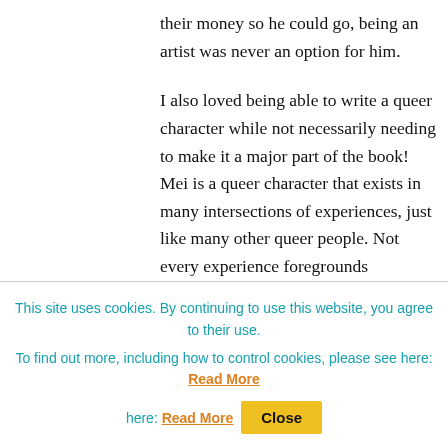their money so he could go, being an artist was never an option for him.
I also loved being able to write a queer character while not necessarily needing to make it a major part of the book! Mei is a queer character that exists in many intersections of experiences, just like many other queer people. Not every experience foregrounds queerness, it is just part of who she is as a person.
Publishing Team of Color
This site uses cookies. By continuing to use this website, you agree to their use.
To find out more, including how to control cookies, please see here: Read More